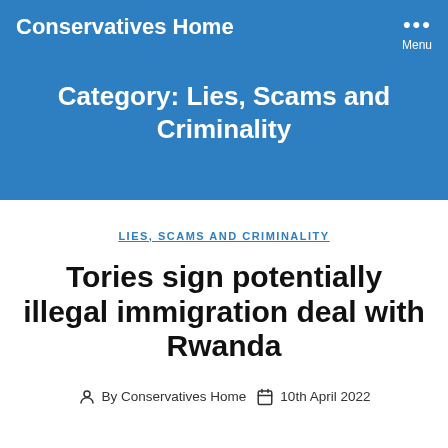Conservatives Home
Category: Lies, Scams and Criminality
LIES, SCAMS AND CRIMINALITY
Tories sign potentially illegal immigration deal with Rwanda
By Conservatives Home   10th April 2022